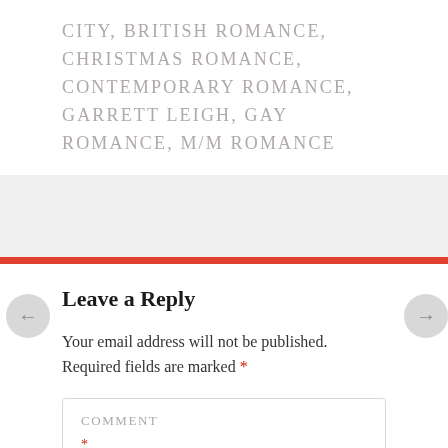CITY, BRITISH ROMANCE, CHRISTMAS ROMANCE, CONTEMPORARY ROMANCE, GARRETT LEIGH, GAY ROMANCE, M/M ROMANCE
Leave a Reply
Your email address will not be published. Required fields are marked *
COMMENT *